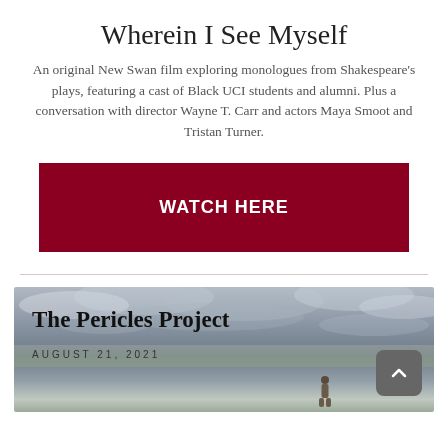Wherein I See Myself
An original New Swan film exploring monologues from Shakespeare's plays, featuring a cast of Black UCI students and alumni. Plus a conversation with director Wayne T. Carr and actors Maya Smoot and Tristan Turner.
WATCH HERE
[Figure (photo): Screenshot of a webpage section showing 'The Pericles Project' with date August 21, 2021, overlaid on a cloudy sky background with a small figure silhouette, and a back-to-top button]
The Pericles Project — August 21, 2021